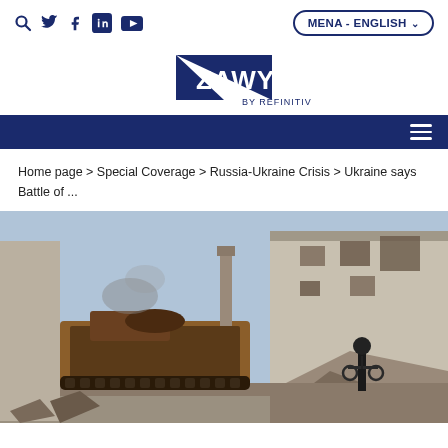ZAWYA BY REFINITIV — MENA - ENGLISH
[Figure (logo): Zawya by Refinitiv logo — dark navy triangle with ZAWYA text and BY REFINITIV subtitle]
Home page > Special Coverage > Russia-Ukraine Crisis > Ukraine says Battle of ...
[Figure (photo): Photo of a destroyed/burned Russian armored personnel carrier (APC) in a war-damaged urban area, with a man walking a bicycle in the foreground past rubble and a damaged building.]